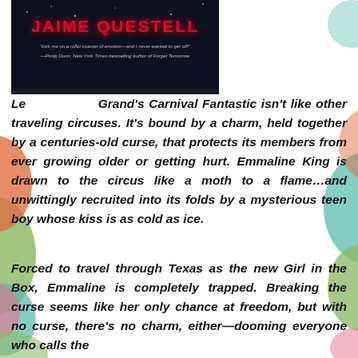[Figure (illustration): Book cover showing 'JAIME QUESTELL' in large red letters on a dark starry night background, with a blurb quote below the author name.]
Le Grand's Carnival Fantastic isn't like other traveling circuses. It's bound by a charm, held together by a centuries-old curse, that protects its members from ever growing older or getting hurt. Emmaline King is drawn to the circus like a moth to a flame…and unwittingly recruited into its folds by a mysterious teen boy whose kiss is as cold as ice.
Forced to travel through Texas as the new Girl in the Box, Emmaline is completely trapped. Breaking the curse seems like her only chance at freedom, but with no curse, there's no charm, either—dooming everyone who calls the